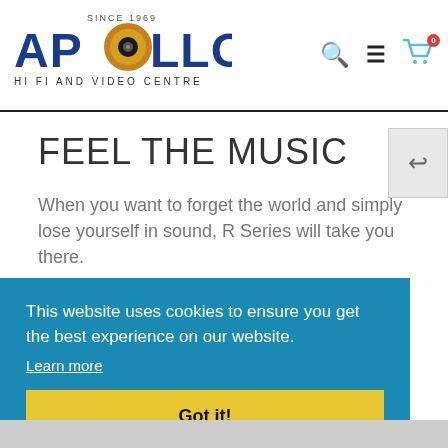[Figure (logo): Apollo Hi Fi and Video Centre logo - 'SINCE 1969' above, 'APOLLO' in large bold blue text with a gold speaker/vinyl record graphic replacing the O, 'HI FI AND VIDEO CENTRE' below]
FEEL THE MUSIC
When you want to forget the world and simply lose yourself in sound, R Series will take you there.
This website uses cookies to ensure you get the best experience on our website.
Learn more
Got it!